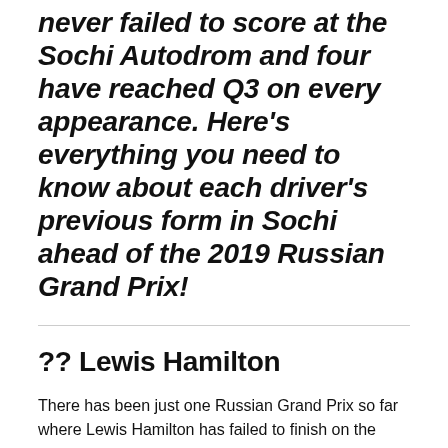the Russian Grand Prix, four drivers have never failed to score at the Sochi Autodrom and four have reached Q3 on every appearance. Here's everything you need to know about each driver's previous form in Sochi ahead of the 2019 Russian Grand Prix!
?? Lewis Hamilton
There has been just one Russian Grand Prix so far where Lewis Hamilton has failed to finish on the